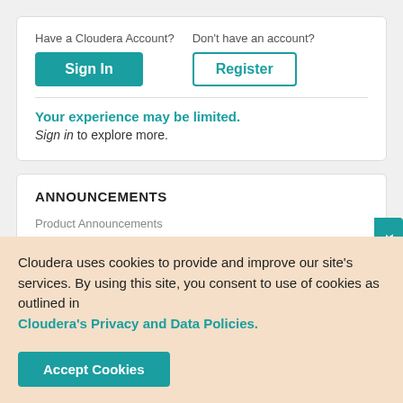Have a Cloudera Account?
Don't have an account?
Sign In
Register
Your experience may be limited.
Sign in to explore more.
ANNOUNCEMENTS
Product Announcements
[ANNOUNCE] CDP Private Cloud Base 7.1.8 Released
Feedback
Cloudera uses cookies to provide and improve our site's services. By using this site, you consent to use of cookies as outlined in Cloudera's Privacy and Data Policies.
Accept Cookies